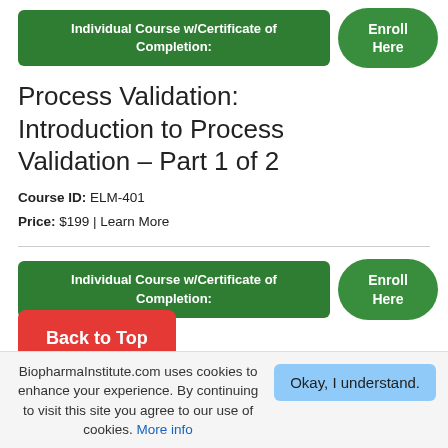[Figure (other): Green banner: Individual Course w/Certificate of Completion with Enroll Here button]
Process Validation: Introduction to Process Validation – Part 1 of 2
Course ID: ELM-401
Price: $199 | Learn More
[Figure (other): Green banner: Individual Course w/Certificate of Completion with Enroll Here button]
Process Validation: Introduction to Process Validation – Part 2 of 2
[Figure (other): Red Back to Top button overlaying second course section]
BiopharmaInstitute.com uses cookies to enhance your experience. By continuing to visit this site you agree to our use of cookies. More info